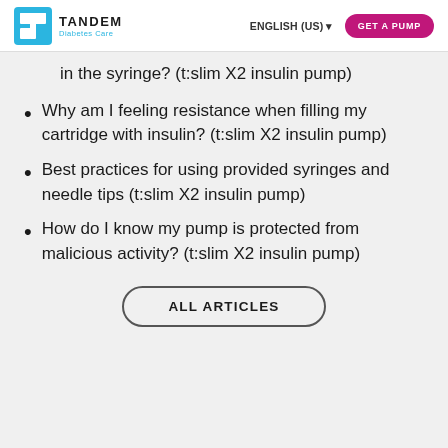TANDEM Diabetes Care | ENGLISH (US) | GET A PUMP
in the syringe? (t:slim X2 insulin pump)
Why am I feeling resistance when filling my cartridge with insulin? (t:slim X2 insulin pump)
Best practices for using provided syringes and needle tips (t:slim X2 insulin pump)
How do I know my pump is protected from malicious activity? (t:slim X2 insulin pump)
ALL ARTICLES